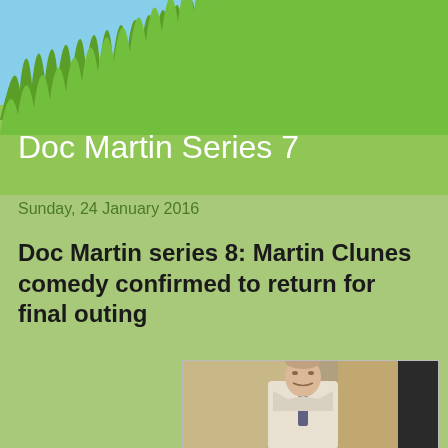[Figure (illustration): Blog header banner with light blue sky background and green grass silhouette, title 'Doc Martin Series 7' overlaid in white text]
Sunday, 24 January 2016
Doc Martin series 8: Martin Clunes comedy confirmed to return for final outing
[Figure (photo): Photo of Martin Clunes (man in light beige/cream jacket with tie) standing outdoors near a stone building column]